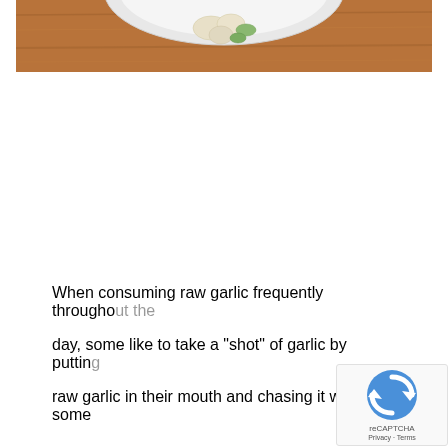[Figure (photo): Partial view of a plate with garlic on a wooden table surface, photo cropped at top of page]
When consuming raw garlic frequently throughout the day, some like to take a "shot" of garlic by putting raw garlic in their mouth and chasing it with some